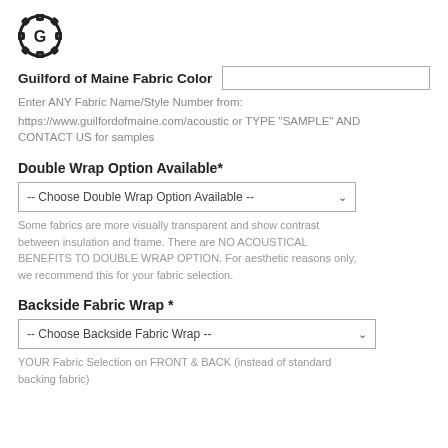[Figure (logo): Guilford of Maine gear/cog logo circle with G letter]
Guilford of Maine Fabric Color
Enter ANY Fabric Name/Style Number from:
https://www.guilfordofmaine.com/acoustic or TYPE "SAMPLE" AND CONTACT US for samples
Double Wrap Option Available*
-- Choose Double Wrap Option Available --
Some fabrics are more visually transparent and show contrast between insulation and frame. There are NO ACOUSTICAL BENEFITS TO DOUBLE WRAP OPTION. For aesthetic reasons only, we recommend this for your fabric selection.
Backside Fabric Wrap *
-- Choose Backside Fabric Wrap --
YOUR Fabric Selection on FRONT & BACK (instead of standard backing fabric)